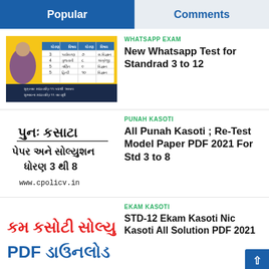Popular
Comments
[Figure (screenshot): Thumbnail image showing a student girl with a table of subjects and schedule text in Gujarati. Yellow and dark blue background.]
WHATSAPP EXAM
New Whatsapp Test for Standrad 3 to 12
[Figure (illustration): Gujarati text image: પુનઃ કસાટા, પેપર અને સોલ્યુશન, ધોરણ 3 થી 8, www.cpolicv.in]
PUNAH KASOTI
All Punah Kasoti ; Re-Test Model Paper PDF 2021 For Std 3 to 8
[Figure (illustration): Gujarati text: કમ કસોટી સોલ્યુ PDF ડાઉનલોડ in red and blue bold text]
EKAM KASOTI
STD-12 Ekam Kasoti Nic Kasoti All Solution PDF 2021